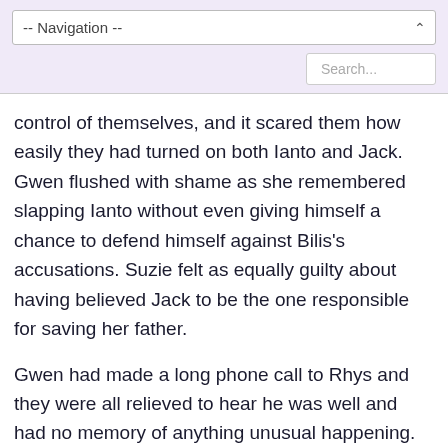-- Navigation --
control of themselves, and it scared them how easily they had turned on both Ianto and Jack. Gwen flushed with shame as she remembered slapping Ianto without even giving himself a chance to defend himself against Bilis's accusations. Suzie felt as equally guilty about having believed Jack to be the one responsible for saving her father.
Gwen had made a long phone call to Rhys and they were all relieved to hear he was well and had no memory of anything unusual happening.
Ianto and Jack had studiously avoided direct contact with each other while the clean up was happening, but both of